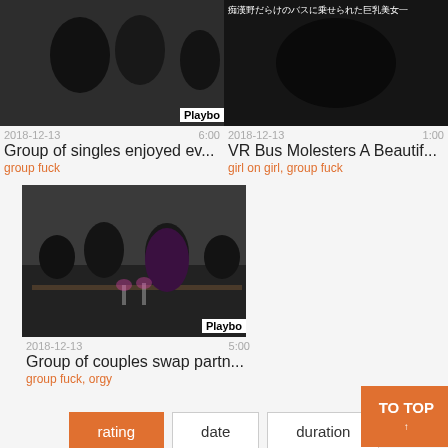[Figure (screenshot): Two video thumbnails in top row. Left: group scene with Playbo badge. Right: Japanese text overlay dark scene.]
2018-12-13    6:00
Group of singles enjoyed ev...
group fuck
2018-12-13    1:00
VR Bus Molesters A Beautif...
girl on girl, group fuck
[Figure (screenshot): Video thumbnail: group of couples at dinner table, Playbo badge bottom right]
2018-12-13    5:00
Group of couples swap partn...
group fuck, orgy
rating  date  duration  TO TOP
[Figure (screenshot): Two partial video thumbnails at bottom of page]